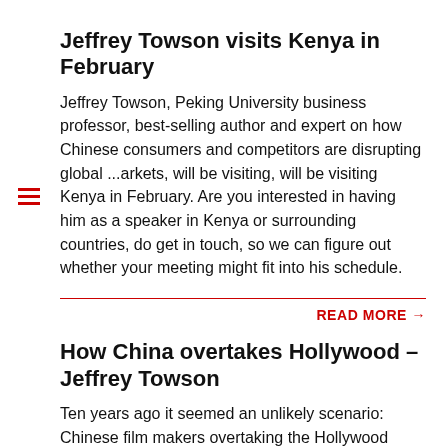Jeffrey Towson visits Kenya in February
Jeffrey Towson, Peking University business professor, best-selling author and expert on how Chinese consumers and competitors are disrupting global ...arkets, will be visiting, will be visiting Kenya in February. Are you interested in having him as a speaker in Kenya or surrounding countries, do get in touch, so we can figure out whether your meeting might fit into his schedule.
READ MORE →
How China overtakes Hollywood – Jeffrey Towson
Ten years ago it seemed an unlikely scenario: Chinese film makers overtaking the Hollywood moguls. But